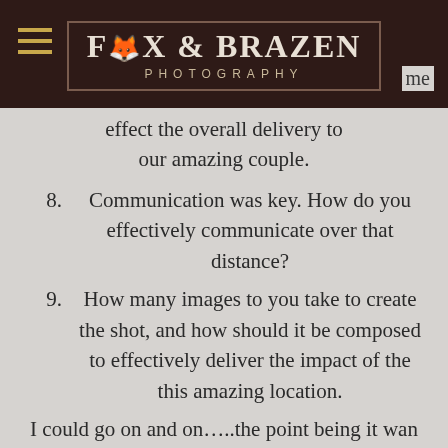[Figure (logo): Fox & Brazen Photography logo with dark brown header bar, hamburger menu icon in gold on the left, and the logo text in white/cream with decorative bracket borders and 'PHOTOGRAPHY' subtitle in spaced letters]
me effect the overall delivery to our amazing couple.
8. Communication was key. How do you effectively communicate over that distance?
9. How many images to you take to create the shot, and how should it be composed to effectively deliver the impact of the this amazing location.
I could go on and on…..the point being it wan an incredible experience working with Bob, Alyssa, and most